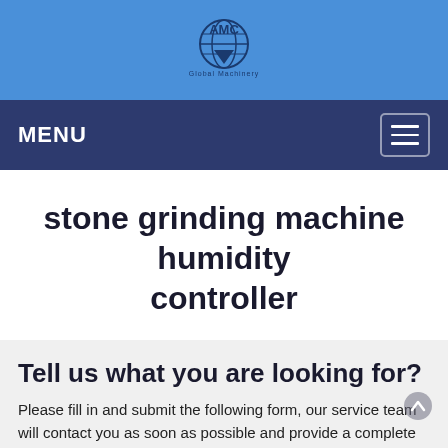[Figure (logo): AMC Global logo with globe icon and text on blue header background]
MENU
stone grinding machine humidity controller
Tell us what you are looking for?
Please fill in and submit the following form, our service team will contact you as soon as possible and provide a complete solution.